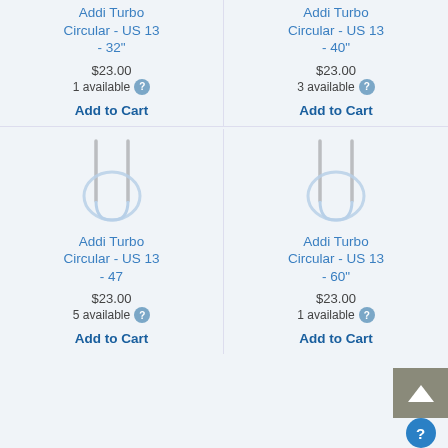Addi Turbo Circular - US 13 - 32"
$23.00
1 available
Add to Cart
Addi Turbo Circular - US 13 - 40"
$23.00
3 available
Add to Cart
[Figure (illustration): Circular knitting needle photographed from above showing the needle tips and cable loop]
Addi Turbo Circular - US 13 - 47
$23.00
5 available
Add to Cart
[Figure (illustration): Circular knitting needle photographed from above showing the needle tips and cable loop]
Addi Turbo Circular - US 13 - 60"
$23.00
1 available
Add to Cart